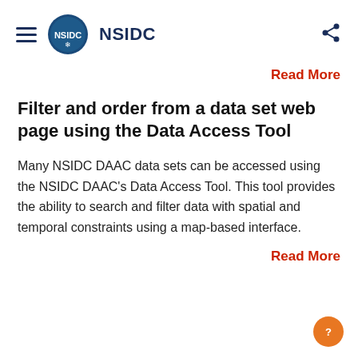NSIDC
Read More
Filter and order from a data set web page using the Data Access Tool
Many NSIDC DAAC data sets can be accessed using the NSIDC DAAC's Data Access Tool. This tool provides the ability to search and filter data with spatial and temporal constraints using a map-based interface.
Read More